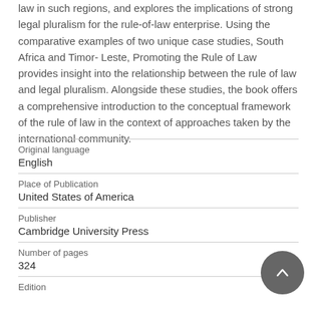law in such regions, and explores the implications of strong legal pluralism for the rule-of-law enterprise. Using the comparative examples of two unique case studies, South Africa and Timor-Leste, Promoting the Rule of Law provides insight into the relationship between the rule of law and legal pluralism. Alongside these studies, the book offers a comprehensive introduction to the conceptual framework of the rule of law in the context of approaches taken by the international community.
| Original language | English |
| Place of Publication | United States of America |
| Publisher | Cambridge University Press |
| Number of pages | 324 |
| Edition |  |